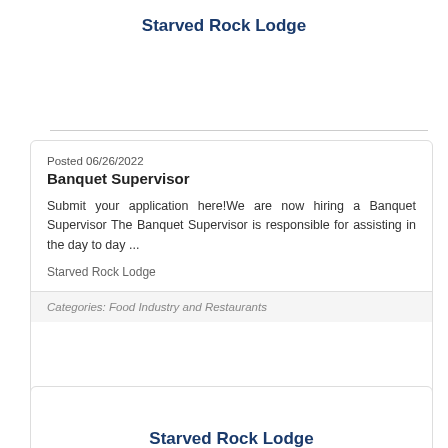Starved Rock Lodge
Posted 06/26/2022
Banquet Supervisor
Submit your application here!We are now hiring a Banquet Supervisor The Banquet Supervisor is responsible for assisting in the day to day...
Starved Rock Lodge
Categories: Food Industry and Restaurants
Starved Rock Lodge